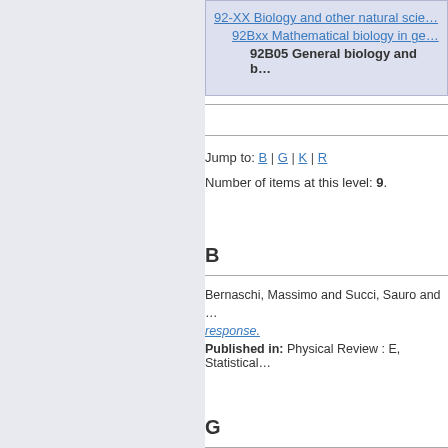92-XX Biology and other natural scie…
92Bxx Mathematical biology in ge…
92B05 General biology and b…
Jump to: B | G | K | R
Number of items at this level: 9.
B
Bernaschi, Massimo and Succi, Sauro and … response.
Published in: Physical Review : E, Statistical…
G
Gebert, Jutta and Radde, Nicole (2006) A new…